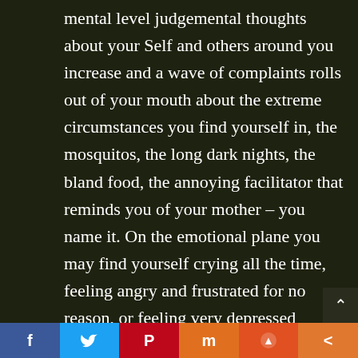mental level judgemental thoughts about your Self and others around you increase and a wave of complaints rolls out of your mouth about the extreme circumstances you find yourself in, the mosquitos, the long dark nights, the bland food, the annoying facilitator that reminds you of your mother – you name it. On the emotional plane you may find yourself crying all the time, feeling angry and frustrated for no reason, or feeling very depressed because of the relentless attacks of a harsh Inner Critic in your mind. Finally, spiritually you may find yourself unable
[Figure (other): Social media sharing bar with buttons: Facebook (f), Twitter (bird), Pinterest (P), Mix (m), Reddit (alien), Share (<)]